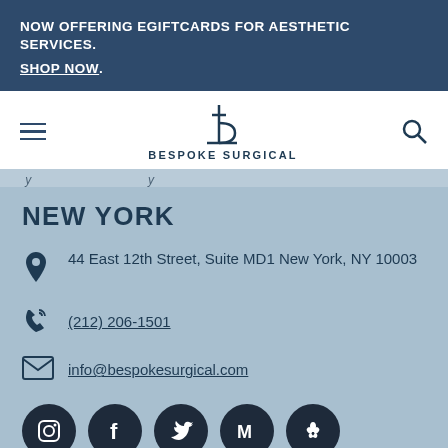NOW OFFERING EGIFTCARDS FOR AESTHETIC SERVICES. SHOP NOW.
[Figure (logo): Bespoke Surgical logo — stylized letter b with horizontal bar, above text BESPOKE SURGICAL]
NEW YORK
44 East 12th Street, Suite MD1 New York, NY 10003
(212) 206-1501
info@bespokesurgical.com
[Figure (illustration): Row of social media icons: Instagram, Facebook, Twitter, Medium, Yelp]